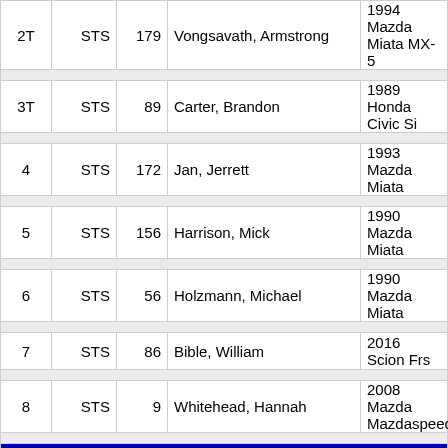| Pos | Class | Num | Name | Car |
| --- | --- | --- | --- | --- |
| 2T | STS | 179 | Vongsavath, Armstrong | 1994 Mazda Miata MX-5 |
| 3T | STS | 89 | Carter, Brandon | 1989 Honda Civic Si |
| 4 | STS | 172 | Jan, Jerrett | 1993 Mazda Miata |
| 5 | STS | 156 | Harrison, Mick | 1990 Mazda Miata |
| 6 | STS | 56 | Holzmann, Michael | 1990 Mazda Miata |
| 7 | STS | 86 | Bible, William | 2016 Scion Frs |
| 8 | STS | 9 | Whitehead, Hannah | 2008 Mazda Mazdaspeed |
|  | STX - 'Street Touring X' Total Entries: 10 |  |  |  |
| 1T | STX | 24 | Rose, Geran | 2014 Scion Frs |